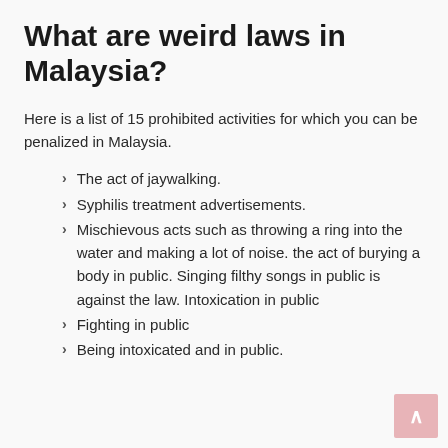What are weird laws in Malaysia?
Here is a list of 15 prohibited activities for which you can be penalized in Malaysia.
The act of jaywalking.
Syphilis treatment advertisements.
Mischievous acts such as throwing a ring into the water and making a lot of noise. the act of burying a body in public. Singing filthy songs in public is against the law. Intoxication in public
Fighting in public
Being intoxicated and in public.